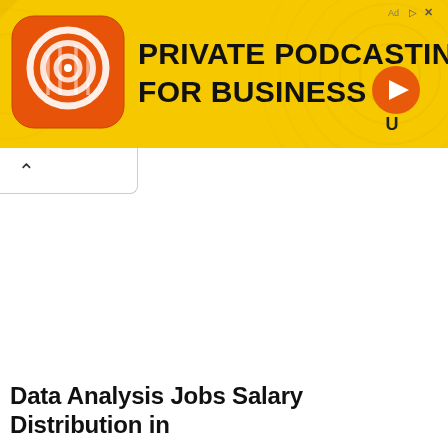[Figure (other): Yellow advertisement banner for private podcasting service. Features orange podcast app icon on left, bold black text 'PRIVATE PODCASTING FOR BUSINESS', orange play button on right, and close/X button in top-right corner.]
Data Analysis Jobs Salary Distribution in